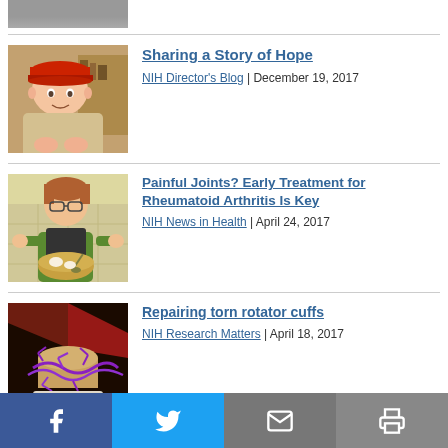[Figure (photo): Partial photo at top (cropped from above)]
Sharing a Story of Hope
NIH Director's Blog | December 19, 2017
Painful Joints? Early Treatment for Rheumatoid Arthritis Is Key
NIH News in Health | April 24, 2017
Repairing torn rotator cuffs
NIH Research Matters | April 18, 2017
NIAMS Roundtable Focuses on
Facebook | Twitter | Email | Print